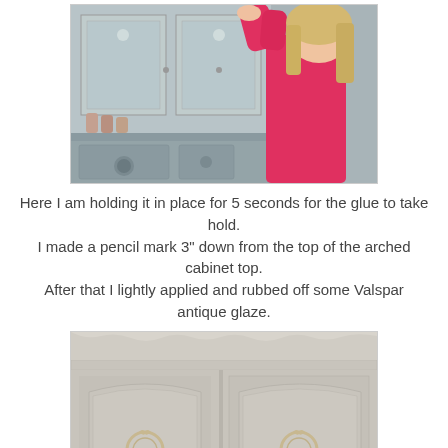[Figure (photo): A woman with blonde hair wearing a pink long-sleeve shirt, reaching up to hold a decorative element on a painted kitchen cabinet. The cabinets are gray/blue painted with ornate details. Kitchen items visible on shelves below.]
Here I am holding it in place for 5 seconds for the glue to take hold.
I made a pencil mark 3" down from the top of the arched cabinet top.
After that I lightly applied and rubbed off some Valspar antique glaze.
[Figure (photo): Close-up of painted kitchen cabinet doors with arched panels and decorative wreath/medallion appliques. The cabinets are painted in a light grayish-white color with ornate crown molding visible at the top. Antique glaze has been applied.]